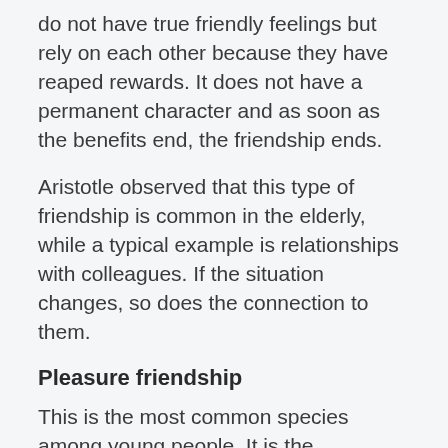do not have true friendly feelings but rely on each other because they have reaped rewards. It does not have a permanent character and as soon as the benefits end, the friendship ends.
Aristotle observed that this type of friendship is common in the elderly, while a typical example is relationships with colleagues. If the situation changes, so does the connection to them.
Pleasure friendship
This is the most common species among young people. It is the relationship that develops between classmates, fellow students, or those who have a common activity. The